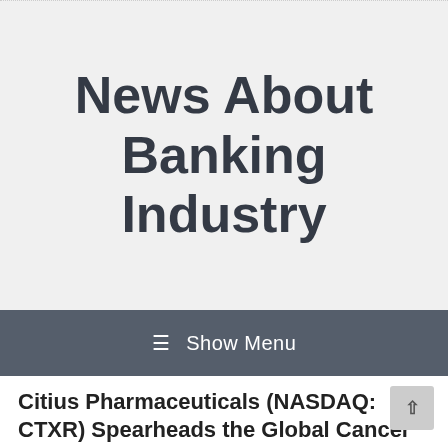News About Banking Industry
☰ Show Menu
Citius Pharmaceuticals (NASDAQ: CTXR) Spearheads the Global Cancer